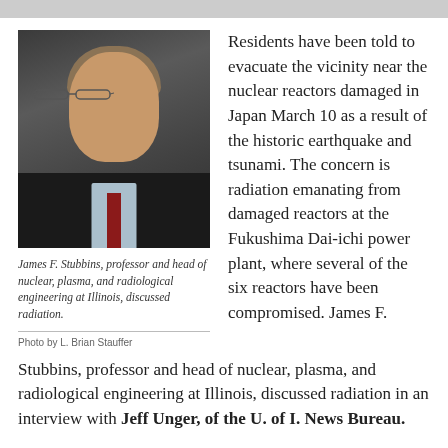[Figure (photo): Portrait photo of James F. Stubbins, a man in a dark suit with glasses, light blue shirt and red tie, smiling against a dark background]
James F. Stubbins, professor and head of nuclear, plasma, and radiological engineering at Illinois, discussed radiation.
Photo by L. Brian Stauffer
Residents have been told to evacuate the vicinity near the nuclear reactors damaged in Japan March 10 as a result of the historic earthquake and tsunami. The concern is radiation emanating from damaged reactors at the Fukushima Dai-ichi power plant, where several of the six reactors have been compromised. James F. Stubbins, professor and head of nuclear, plasma, and radiological engineering at Illinois, discussed radiation in an interview with Jeff Unger, of the U. of I. News Bureau.